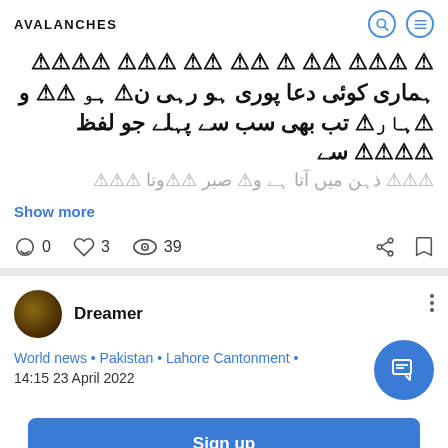AVALANCHES
ہماری کوئی دعا پوری ہو رہی نہ ہو اور جو لفظ ہمارے منہ سے نکلتا ہے تب بھی سب سے پہلے جو ذہن میں آتا ہے وہ صبر ہوتا ہے
Show more
0   3   39
Dreamer
World news • Pakistan • Lahore Cantonment • 14:15 23 April 2022
Sign up